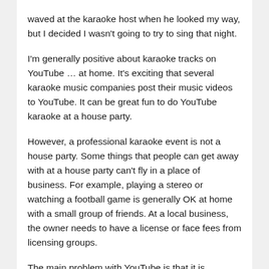waved at the karaoke host when he looked my way, but I decided I wasn't going to try to sing that night.
I'm generally positive about karaoke tracks on YouTube … at home. It's exciting that several karaoke music companies post their music videos to YouTube. It can be great fun to do YouTube karaoke at a house party.
However, a professional karaoke event is not a house party. Some things that people can get away with at a house party can't fly in a place of business. For example, playing a stereo or watching a football game is generally OK at home with a small group of friends. At a local business, the owner needs to have a license or face fees from licensing groups.
The main problem with YouTube is that it is generally licensed for private, personal use. I don't know if Google has a YouTube that's available for commercial use.
In some ways, it doesn't matter as the KJ handled YouTube in a very particular way. The YouTube started…